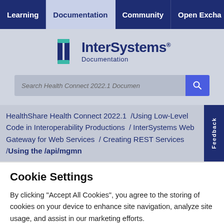Learning | Documentation | Community | Open Excha
[Figure (logo): InterSystems Documentation logo with teal bracket icon and dark blue text]
Search Health Connect 2022.1 Documen
HealthShare Health Connect 2022.1 / Using Low-Level Code in Interoperability Productions / InterSystems Web Gateway for Web Services / Creating REST Services / Using the /api/mgmn
Cookie Settings
By clicking “Accept All Cookies”, you agree to the storing of cookies on your device to enhance site navigation, analyze site usage, and assist in our marketing efforts.